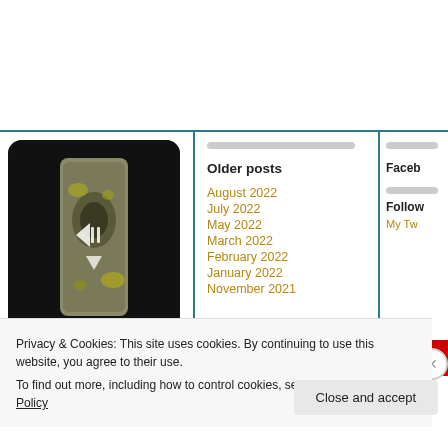[Figure (photo): A stone artifact with greenish-yellow lichen, shown inside a dark rounded rectangle frame with navigation arrows]
Older posts
August 2022
July 2022
May 2022
March 2022
February 2022
January 2022
November 2021
Faceb
Follow
My Tw
Privacy & Cookies: This site uses cookies. By continuing to use this website, you agree to their use.
To find out more, including how to control cookies, see here: Our Cookie Policy
Close and accept